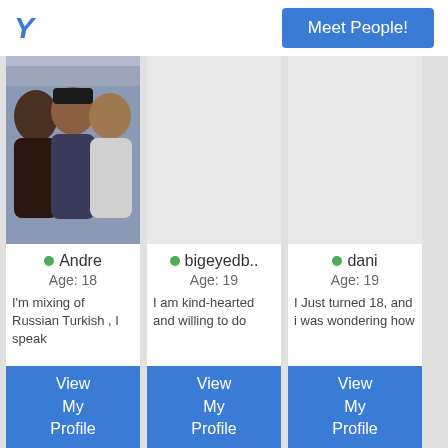Y
Meet People!
[Figure (photo): Profile photo of Andre: group selfie of three young men]
Andre
Age: 18
I'm mixing of Russian Turkish , I speak
View My Profile
bigeyedb..
Age: 19
I am kind-hearted and willing to do
View My Profile
dani
Age: 19
I Just turned 18, and i was wondering how
View My Profile